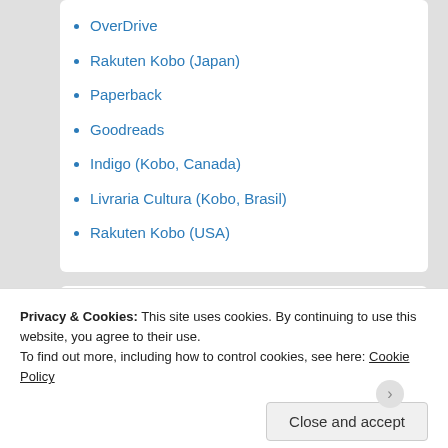OverDrive
Rakuten Kobo (Japan)
Paperback
Goodreads
Indigo (Kobo, Canada)
Livraria Cultura (Kobo, Brasil)
Rakuten Kobo (USA)
[Figure (illustration): Teal/turquoise banner with cursive white italic text reading 'Never forget the power of love']
Privacy & Cookies: This site uses cookies. By continuing to use this website, you agree to their use.
To find out more, including how to control cookies, see here: Cookie Policy
Close and accept